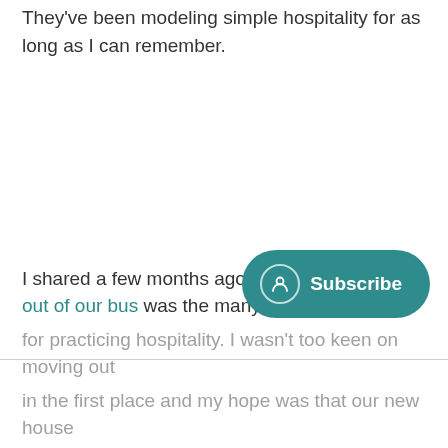They've been modeling simple hospitality for as long as I can remember.
I shared a few months ago that the th[ey were] moving out of our bus was the many c[hallenges] [that pushe]d for practicing hospitality. I wasn't too keen on moving out in the first place and my hope was that our new house